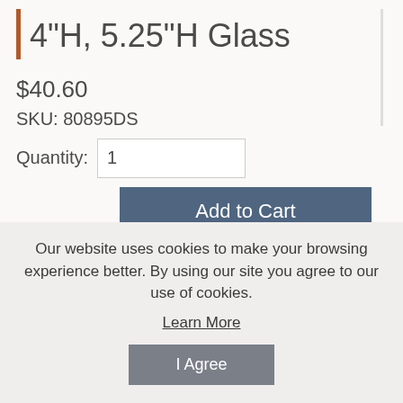4"H, 5.25"H Glass
$40.60
SKU: 80895DS
Quantity: 1
Add to Cart
A favorite collectible among family and friends. Our ornaments are timeless
Our website uses cookies to make your browsing experience better. By using our site you agree to our use of cookies.
Learn More
I Agree